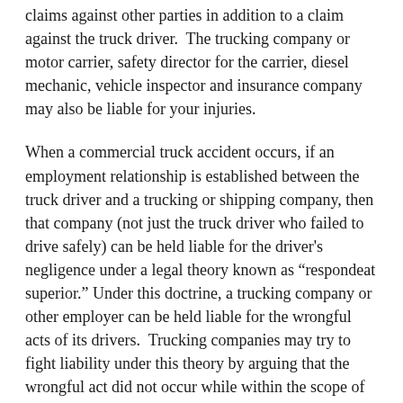claims against other parties in addition to a claim against the truck driver.  The trucking company or motor carrier, safety director for the carrier, diesel mechanic, vehicle inspector and insurance company may also be liable for your injuries.
When a commercial truck accident occurs, if an employment relationship is established between the truck driver and a trucking or shipping company, then that company (not just the truck driver who failed to drive safely) can be held liable for the driver's negligence under a legal theory known as “respondeat superior.” Under this doctrine, a trucking company or other employer can be held liable for the wrongful acts of its drivers.  Trucking companies may try to fight liability under this theory by arguing that the wrongful act did not occur while within the scope of employment or they may claim they had no knowledge that the negligently entrusted the shipping of goods to a dangerous driver.   Motor carriers also try to limit their liability by hiring drivers as independent contractors rather than employees, but Michelle and her team were